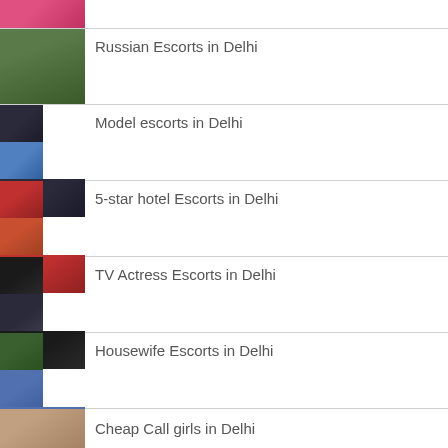[Figure (photo): Partial photo at top, cropped]
Russian Escorts in Delhi
Model escorts in Delhi
5-star hotel Escorts in Delhi
TV Actress Escorts in Delhi
Housewife Escorts in Delhi
Cheap Call girls in Delhi